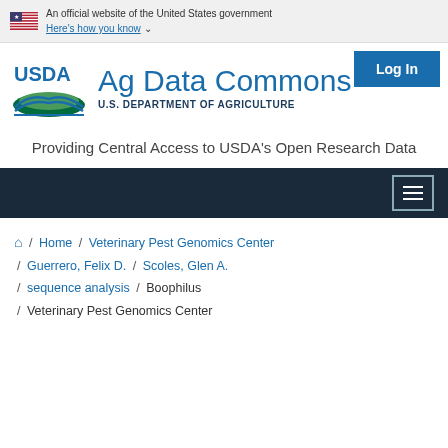An official website of the United States government
Here's how you know
[Figure (logo): USDA Ag Data Commons logo with USDA shield/landscape graphic and text 'Ag Data Commons U.S. DEPARTMENT OF AGRICULTURE']
Providing Central Access to USDA's Open Research Data
Home / Veterinary Pest Genomics Center / Guerrero, Felix D. / Scoles, Glen A. / sequence analysis / Boophilus / Veterinary Pest Genomics Center